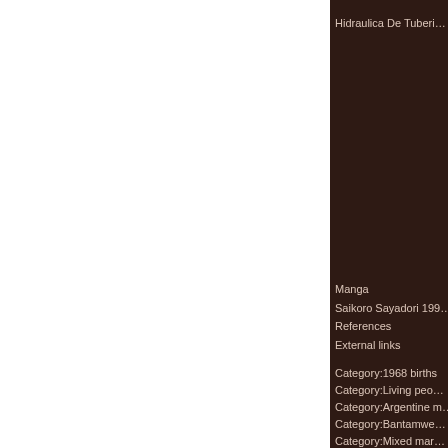Hidraulica De Tuberi…
Manga
Saikoro Sayadori 199…
References
External links
Category:1968 births
Category:Living peo…
Category:Argentine m…
Category:Bantamwe…
Category:Mixed mar…
(Click to enlarge) We…
in the study, but high…
Leigh Cooper and Ri…